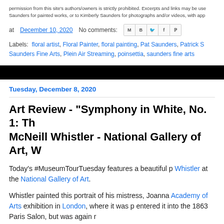permission from this site's authors/owners is strictly prohibited. Excerpts and links may be used. Saunders for painted works, or to Kimberly Saunders for photographs and/or videos, with app
at December 10, 2020   No comments:
Labels: floral artist, Floral Painter, floral painting, Pat Saunders, Patrick S Saunders Fine Arts, Plein Air Streaming, poinsettia, saunders fine arts
Tuesday, December 8, 2020
Art Review - "Symphony in White, No. 1: Th McNeill Whistler - National Gallery of Art, W
Today's #MuseumTourTuesday features a beautiful p Whistler at the National Gallery of Art.
Whistler painted this portrait of his mistress, Joanna Academy of Arts exhibition in London, where it was p entered it into the 1863 Paris Salon, but was again r